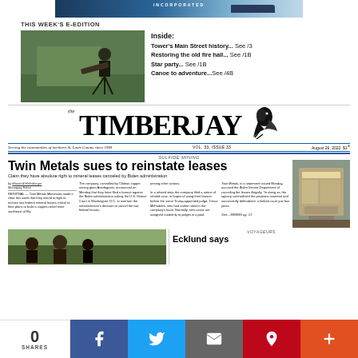[Figure (photo): Advertisement banner with ship on water, blue tones]
THIS WEEK'S E-EDITION
[Figure (photo): Person with telescope/camera on tripod outdoors]
Inside:
Tower's Main Street history... See /3
Restoring the old fire hall... See /1B
Star party... See /1B
Canoe to adventure...See /4B
[Figure (photo): The Timberjay newspaper masthead with bird logo]
Serving the communities of northern St. Louis County since 1989   VOL. 33, ISSUE 33   August 26, 2022  $1
SULFIDE MINING
Twin Metals sues to reinstate leases
Claim they have absolute right to mineral leases canceled by Biden administration
by Marshall Helmberger
Managing Editor

REGIONAL — Twin Metals Minnesota made it clear this week that they intend to fight to reclaim two federal mineral leases critical to their plans to build a copper-nickel mine southeast of Ely.
The company, controlled by Chilean copper mining giant Antofagasta, announced on Monday that they have filed a lawsuit against the Biden administration asking the U.S. District Court in Washington, D.C. to overturn the administration's decision to cancel the two federal leases,
among other actions.

In a related step, the company filed a notice of related case, in hopes of using their lawsuit before the same Trump-appointed judge, Trevor McFadden, who had earlier ruled in the company's favor. Normally, new cases are assigned randomly to judges in a pool.
Twin Metals, in a statement issued Monday, accused the Biden Interior Department of canceling the leases illegally. "In doing so, the agency contradicted the positions asserted and successfully defended in a federal court just four years

See....MINING pg. 11
[Figure (photo): Building exterior photo, modern architecture]
[Figure (photo): Group of people outdoors, landscape in background]
VOYAGEURS
Ecklund says